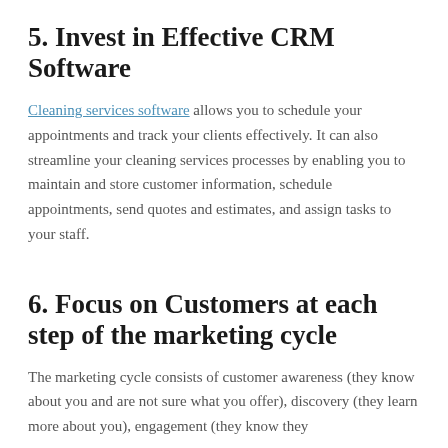5. Invest in Effective CRM Software
Cleaning services software allows you to schedule your appointments and track your clients effectively. It can also streamline your cleaning services processes by enabling you to maintain and store customer information, schedule appointments, send quotes and estimates, and assign tasks to your staff.
6. Focus on Customers at each step of the marketing cycle
The marketing cycle consists of customer awareness (they know about you and are not sure what you offer), discovery (they learn more about you), engagement (they know they